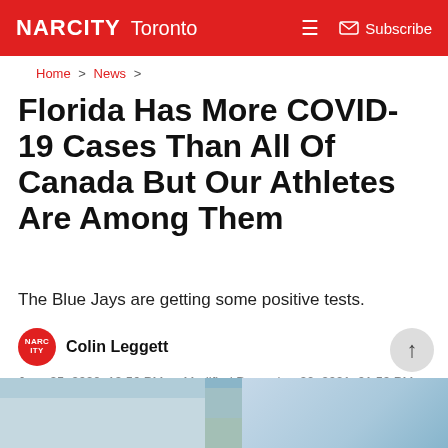NARCITY Toronto — Subscribe
Home > News >
Florida Has More COVID-19 Cases Than All Of Canada But Our Athletes Are Among Them
The Blue Jays are getting some positive tests.
Colin Leggett
June 25, 2020, 12:56 PM — Modified December 20, 2021, 01:59 PM
comments
[Figure (photo): Two-panel image at bottom of page showing building and sky]